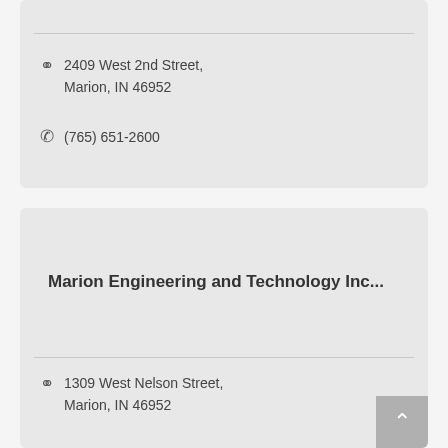2409 West 2nd Street, Marion, IN 46952
(765) 651-2600
Marion Engineering and Technology Inc...
1309 West Nelson Street, Marion, IN 46952